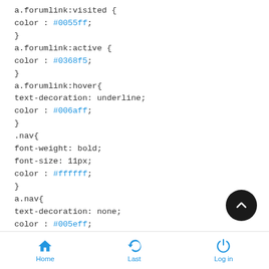a.forumlink:visited {
color : #0055ff;
}
a.forumlink:active {
color : #0368f5;
}
a.forumlink:hover{
text-decoration: underline;
color : #006aff;
}
.nav{
font-weight: bold;
font-size: 11px;
color : #ffffff;
}
a.nav{
text-decoration: none;
color : #005eff;
Home  Last  Log in